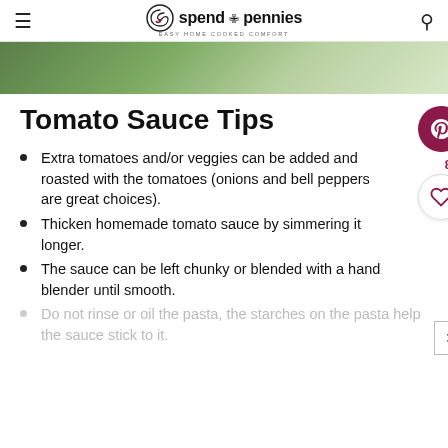spend with pennies — EASY HOME COOKED COMFORT
[Figure (photo): Top portion of a food photo showing green herbs/vegetables on a plate, cropped at top of page]
Tomato Sauce Tips
Extra tomatoes and/or veggies can be added and roasted with the tomatoes (onions and bell peppers are great choices).
Thicken homemade tomato sauce by simmering it longer.
The sauce can be left chunky or blended with a hand blender until smooth.
Do not rinse or oil the pasta, the starches on the pasta help the sauce stick to it.